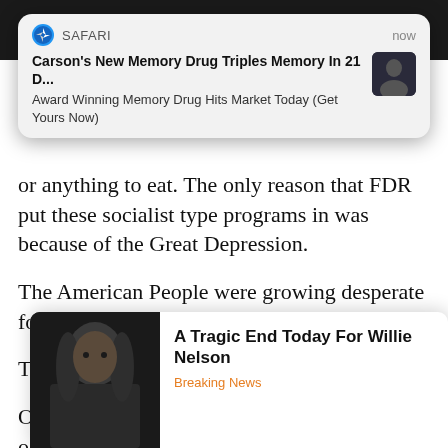[Figure (screenshot): Safari browser notification popup: 'Carson's New Memory Drug Triples Memory In 21 D...' / 'Award Winning Memory Drug Hits Market Today (Get Yours Now)' with a thumbnail of a person, labeled SAFARI and now]
or anything to eat. The only reason that FDR put these socialist type programs in was because of the Great Depression.
The American People were growing desperate for some way to MAKE a living.
They wanted work.
One o[f the] [best] place[s] [    ] [p]aid and h[e] [  ] as a publi[c] [   ] r to
[Figure (screenshot): Ad popup with photo of Willie Nelson and text: 'A Tragic End Today For Willie Nelson' / 'Breaking News']